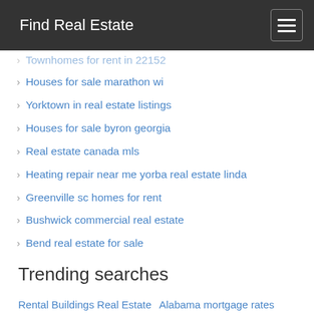Find Real Estate
Townhomes for rent in 22152
Houses for sale marathon wi
Yorktown in real estate listings
Houses for sale byron georgia
Real estate canada mls
Heating repair near me yorba real estate linda
Greenville sc homes for rent
Bushwick commercial real estate
Bend real estate for sale
Trending searches
Rental Buildings Real Estate
Alabama mortgage rates
Nashville apartments for rent
Philadelphia apartments for rent
Austin apartments for rent